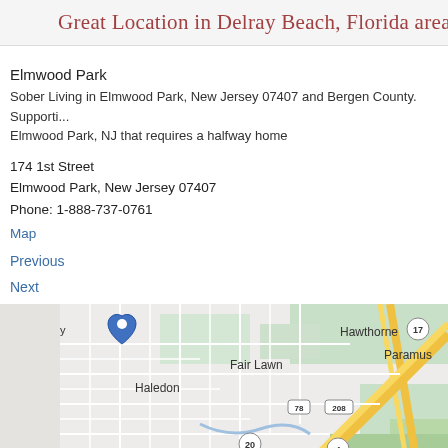Great Location in Delray Beach, Florida area...
Elmwood Park
Sober Living in Elmwood Park, New Jersey 07407 and Bergen County. Supporti... Elmwood Park, NJ that requires a halfway home
174 1st Street
Elmwood Park, New Jersey 07407
Phone: 1-888-737-0761
Map
Previous
Next
[Figure (map): Google Maps showing area around Elmwood Park, NJ with labels for Hawthorne, Fair Lawn, Haledon, Paterson, Paramus, Saddle River County Park, and route numbers 17, 78, 208, 20, 4]